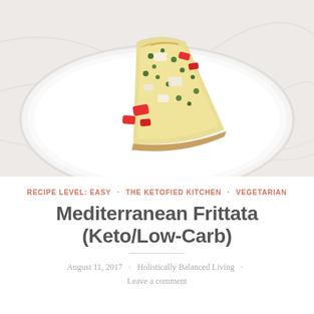[Figure (photo): A slice of Mediterranean frittata on a white plate, showing red peppers, spinach, and cheese filling, photographed from above on a marble surface]
RECIPE LEVEL: EASY · THE KETOFIED KITCHEN · VEGETARIAN
Mediterranean Frittata (Keto/Low-Carb)
August 11, 2017 · Holistically Balanced Living · Leave a comment